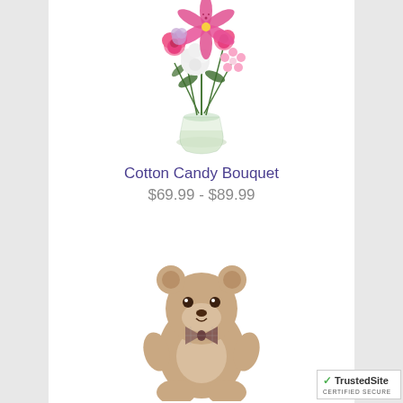[Figure (photo): A bouquet of pink roses, stargazer lilies, and white hydrangeas in a clear glass vase]
Cotton Candy Bouquet
$69.99 - $89.99
[Figure (photo): A light brown plush teddy bear with a plaid bow tie]
[Figure (logo): TrustedSite Certified Secure badge with green checkmark]